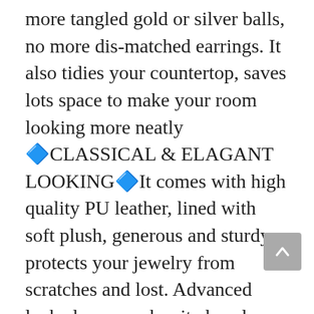more tangled gold or silver balls, no more dis-matched earrings. It also tidies your countertop, saves lots space to make your room looking more neatly
🔷CLASSICAL & ELAGANT LOOKING🔷It comes with high quality PU leather, lined with soft plush, generous and sturdy, protects your jewelry from scratches and lost. Advanced lock closure makes it closed firmly, also easy to open
🔷GREAT IDEAL GIFT🔷Your beloved would not be happier when receiving such a nice gift on Valentine's Day, Mother's Day, Christmas, New Year, birthday, wedding and so on
Search misaya to surf our entire catalog listing on Amazon for additional great collections.